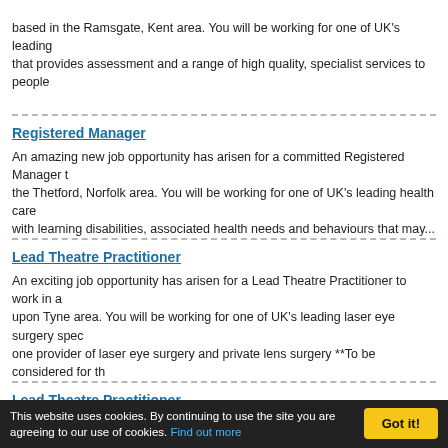based in the Ramsgate, Kent area. You will be working for one of UK's leading that provides assessment and a range of high quality, specialist services to people
Registered Manager
An amazing new job opportunity has arisen for a committed Registered Manager to the Thetford, Norfolk area. You will be working for one of UK's leading health care p with learning disabilities, associated health needs and behaviours that may...
Lead Theatre Practitioner
An exciting job opportunity has arisen for a Lead Theatre Practitioner to work in an upon Tyne area. You will be working for one of UK's leading laser eye surgery spec one provider of laser eye surgery and private lens surgery **To be considered for th
Lead Theatre Practitioner
An amazing job opportunity has arisen for a Lead Theatre Practitioner to work in a Yorkshire area. You will be working for one of UK's leading laser eye surgery speci one provider of laser eye surgery and private lens surgery **To be considered for th
Lead Theatre Practitioner
An amazing job opportunity has arisen for a Lead Theatre Practitioner to work in a
This website uses cookies. By continuing to use the site you are agreeing to our use of cookies. Find out more